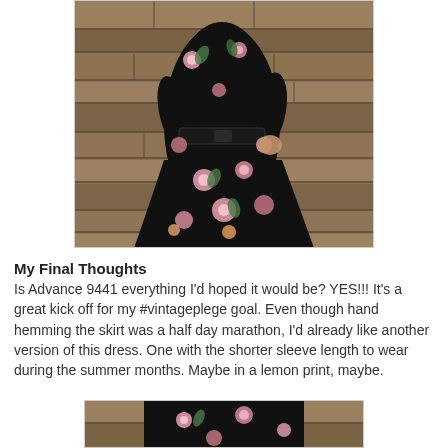[Figure (photo): A woman wearing a black floral dress with pink and white roses, belted at the waist with a wide black belt, standing in front of a stone wall.]
My Final Thoughts
Is Advance 9441 everything I'd hoped it would be? YES!!! It's a great kick off for my #vintageplege goal. Even though hand hemming the skirt was a half day marathon, I'd already like another version of this dress. One with the shorter sleeve length to wear during the summer months. Maybe in a lemon print, maybe.
[Figure (photo): Partial photo of a woman in a floral dress, cropped at the bottom of the page.]